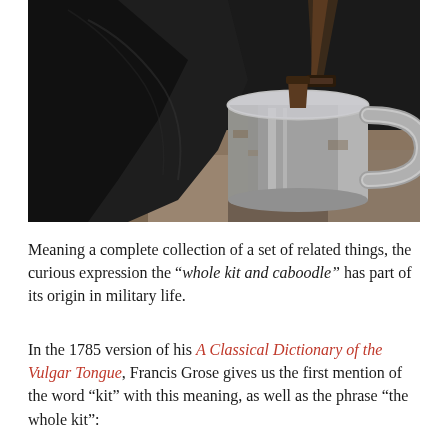[Figure (photo): Close-up photograph of a worn metal tin cup/mug hanging by a strap against a dark cloth background, with blurred rocks and greenery in the background.]
Meaning a complete collection of a set of related things, the curious expression the “whole kit and caboodle” has part of its origin in military life.
In the 1785 version of his A Classical Dictionary of the Vulgar Tongue, Francis Grose gives us the first mention of the word “kit” with this meaning, as well as the phrase “the whole kit”: